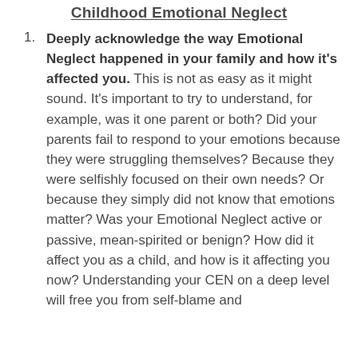Childhood Emotional Neglect
Deeply acknowledge the way Emotional Neglect happened in your family and how it's affected you. This is not as easy as it might sound. It's important to try to understand, for example, was it one parent or both? Did your parents fail to respond to your emotions because they were struggling themselves? Because they were selfishly focused on their own needs? Or because they simply did not know that emotions matter? Was your Emotional Neglect active or passive, mean-spirited or benign? How did it affect you as a child, and how is it affecting you now? Understanding your CEN on a deep level will free you from self-blame and